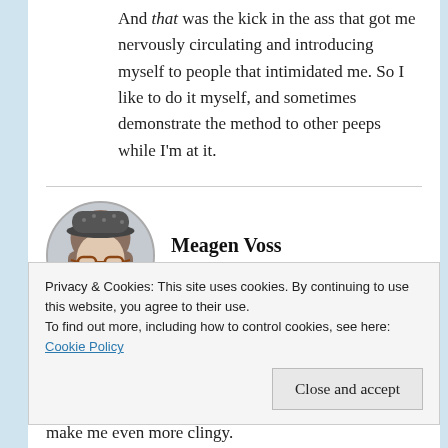And that was the kick in the ass that got me nervously circulating and introducing myself to people that intimidated me. So I like to do it myself, and sometimes demonstrate the method to other peeps while I'm at it.
Meagen Voss
JANUARY 18, 2013 AT 3:15 PM
Privacy & Cookies: This site uses cookies. By continuing to use this website, you agree to their use. To find out more, including how to control cookies, see here: Cookie Policy
Close and accept
make me even more clingy.